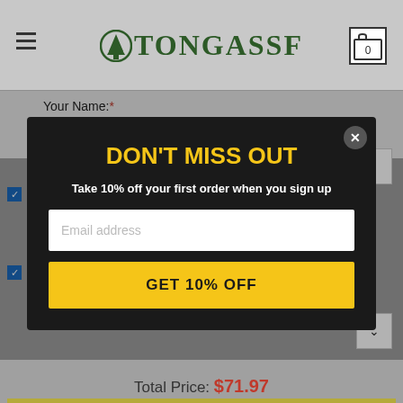TONGASSF
Your Name:*
[Figure (screenshot): Modal popup on e-commerce page with dark background, yellow headline 'DON'T MISS OUT', subtitle 'Take 10% off your first order when you sign up', email input field, and yellow CTA button 'GET 10% OFF']
Total Price: $71.97
You saved $8.00